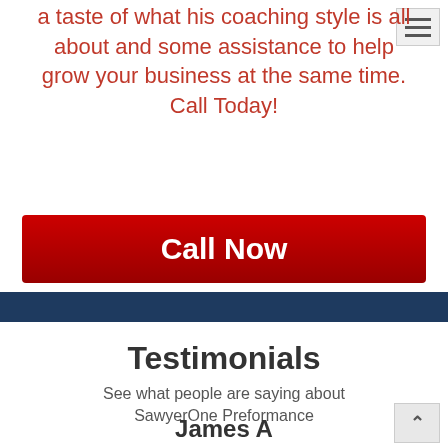a taste of what his coaching style is all about and some assistance to help grow your business at the same time. Call Today!
[Figure (other): Red 'Call Now' button]
Testimonials
See what people are saying about SawyerOne Preformance
James A